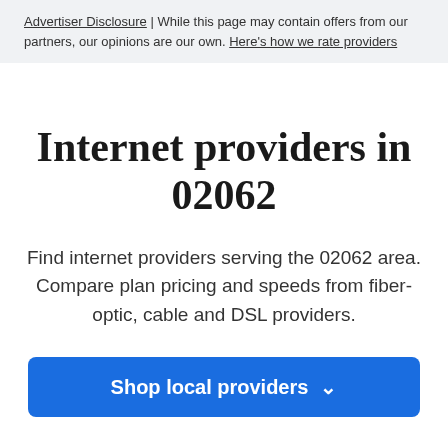Advertiser Disclosure | While this page may contain offers from our partners, our opinions are our own. Here's how we rate providers
Internet providers in 02062
Find internet providers serving the 02062 area. Compare plan pricing and speeds from fiber-optic, cable and DSL providers.
Shop local providers